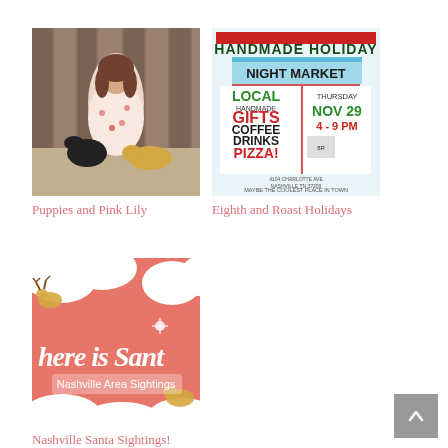[Figure (photo): Woman in floral dress sitting with two dogs (black puppy and yellow lab) in front of a wooden barn door]
Puppies and Pink Lily
[Figure (infographic): Handmade Holiday Night Market flyer: Local Handmade Gifts, Coffee, Drinks, Pizza! Thursday Nov 29, 4-9 PM, 4104 Charlotte Ave Nashville TN 37209, Maybe the coolest place in town]
Eighth and Roast Holidays
[Figure (infographic): Coral/pink background with illustrated reindeer and clouds. Text reads 'here is Santa - Nashville Area Sightings']
Nashville Santa Sightings!